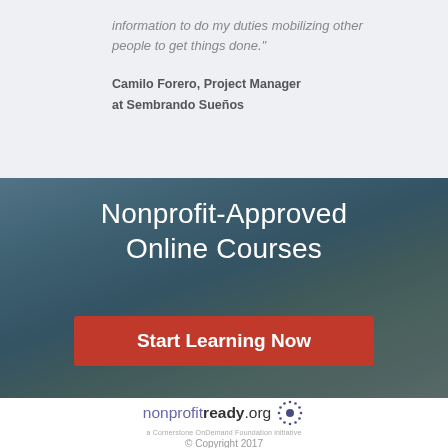information to do my duties mobilizing other people to get things done."
Camilo Forero, Project Manager at Sembrando Sueños
[Figure (photo): Banner advertisement showing a person using a laptop, with dark overlay, for nonprofitready.org online courses]
Nonprofit-Approved Online Courses
Start Learning Now
[Figure (logo): nonprofitready.org logo with sunburst graphic and tagline 'a Cornerstone OnDemand Foundation initiative']
© Copyright 2017